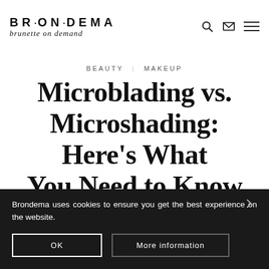BRONDEMA brunette on demand
BEAUTY  MAKEUP
Microblading vs. Microshading: Here’s What You Need to Know
BY NADINE · APRIL · NOVEMBER
Brondema uses cookies to ensure you get the best experience on the website.